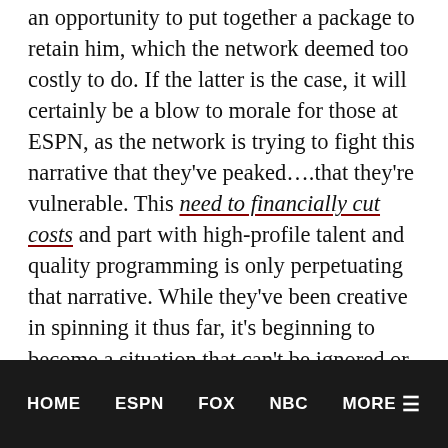an opportunity to put together a package to retain him, which the network deemed too costly to do. If the latter is the case, it will certainly be a blow to morale for those at ESPN, as the network is trying to fight this narrative that they've peaked….that they're vulnerable. This need to financially cut costs and part with high-profile talent and quality programming is only perpetuating that narrative. While they've been creative in spinning it thus far, it's beginning to become a situation that can't be ignored or spun. If ESPN doesn't pickup the Big Ten's remaining rights, you're going to be looking at a network that is truly beginning to show a
HOME   ESPN   FOX   NBC   MORE